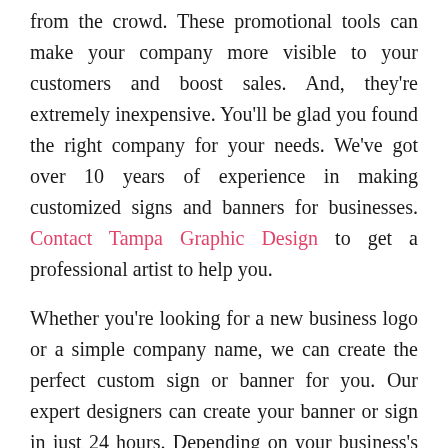from the crowd. These promotional tools can make your company more visible to your customers and boost sales. And, they're extremely inexpensive. You'll be glad you found the right company for your needs. We've got over 10 years of experience in making customized signs and banners for businesses. Contact Tampa Graphic Design to get a professional artist to help you.

Whether you're looking for a new business logo or a simple company name, we can create the perfect custom sign or banner for you. Our expert designers can create your banner or sign in just 24 hours. Depending on your business's needs, we'll design, print, and install it for you. We can even work with you to create a sign or banner specifically for your business. Aside from being affordable, we also offer fast turnaround times, so you can get your custom signs and/or banners